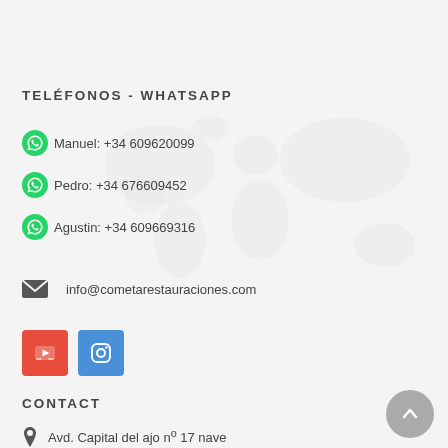TELÉFONOS - WHATSAPP
Manuel: +34 609620099
Pedro: +34 676609452
Agustin: +34 609669316
info@cometarestauraciones.com
[Figure (other): YouTube and Instagram social media icon buttons]
CONTACT
Avd. Capital del ajo nº 17 nave